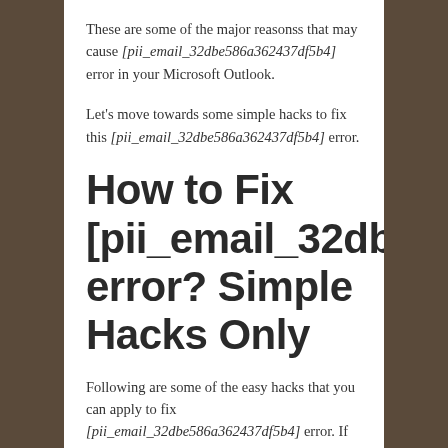These are some of the major reasonss that may cause [pii_email_32dbe586a362437df5b4] error in your Microsoft Outlook.
Let's move towards some simple hacks to fix this [pii_email_32dbe586a362437df5b4] error.
How to Fix [pii_email_32dbe586a362437df5b4] error? Simple Hacks Only
Following are some of the easy hacks that you can apply to fix [pii_email_32dbe586a362437df5b4] error. If one trick is failed to fix Microsoft Outlook